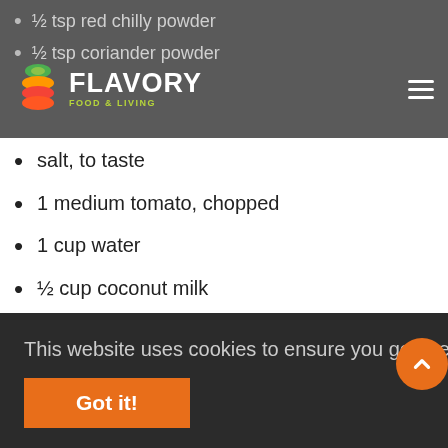FLAVORY FOOD & LIVING
½ tsp red chilly powder
½ tsp coriander powder
salt, to taste
1 medium tomato, chopped
1 cup water
½ cup coconut milk
2 tbsp cilantro, chopped
vada, 5
Recipe:
1. Cut your vada into bite sized pieces and place...
2. ...cloves, fenugreek seeds, hing and sauté for a few seconds
3. Next add the onions, garlic, chili, curry leaves and sauté until it changes colour sauté for a few minutes.
4. Add your spices (turmeric, chilli powder, corriander powder
This website uses cookies to ensure you get the best experience on our website. More info
Got it!